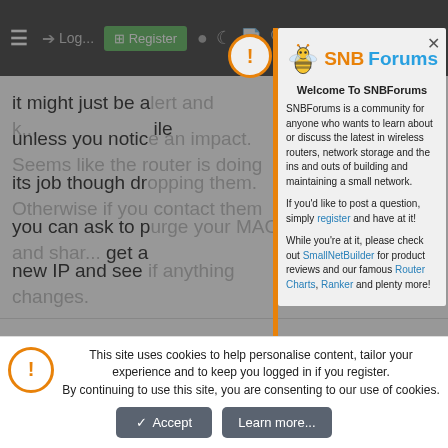[Figure (screenshot): SNBForums website screenshot showing a forum post background with navigation bar, post text about router IP, user 'RMerlin' (Asuswrt-Merlin dev), dated May 16 2022, overlaid by a modal popup welcoming users to SNBForums with the site logo and description, and a cookie consent bar at the bottom with Accept and Learn more buttons.]
it might just be alert and k...while unless you notice an impact. Seems like the router is doing its job though dropping them. Otherwise if you contact them you can ask to purge your MAC and get a new IP and see if anything changes.
Welcome To SNBForums
SNBForums is a community for anyone who wants to learn about or discuss the latest in wireless routers, network storage and the ins and outs of building and maintaining a small network.
If you'd like to post a question, simply register and have at it!
While you're at it, please check out SmallNetBuilder for product reviews and our famous Router Charts, Ranker and plenty more!
RMerlin
Asuswrt-Merlin dev...
May 16, 2022
Tech_Junky said:
This site uses cookies to help personalise content, tailor your experience and to keep you logged in if you register. By continuing to use this site, you are consenting to our use of cookies.